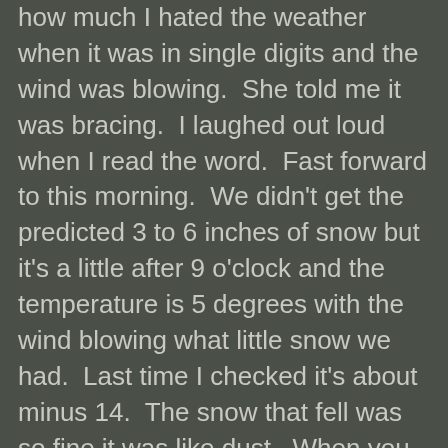how much I hated the weather when it was in single digits and the wind was blowing.  She told me it was bracing.  I laughed out loud when I read the word.  Fast forward to this morning.  We didn't get the predicted 3 to 6 inches of snow but it's a little after 9 o'clock and the temperature is 5 degrees with the wind blowing what little snow we had.  Last time I checked it's about minus 14.  The snow that fell was so fine it was like dust.  When you are outdoors and the wind whips it up it feels like you are being blasted with sand, very cold sand.  Suffice it to say it is painful to be outdoors today for any time longer than walking to your car parked next to the door.  The real burning question I have is why do your dogs have to spend an inordinately long period of time outdoors when it's below zero and you have to walk them one by one on a leash?  For them it's bracing, for